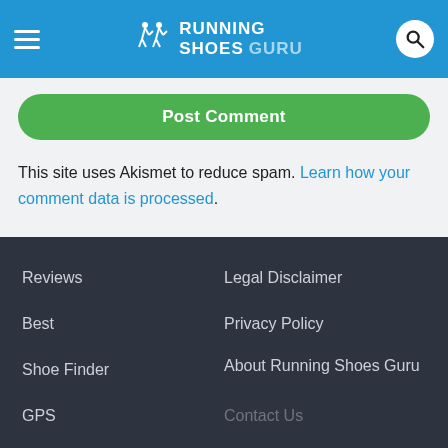Running Shoes Guru
Post Comment
This site uses Akismet to reduce spam. Learn how your comment data is processed.
Reviews | Legal Disclaimer | Best | Privacy Policy | Shoe Finder | About Running Shoes Guru | GPS | Contact Us